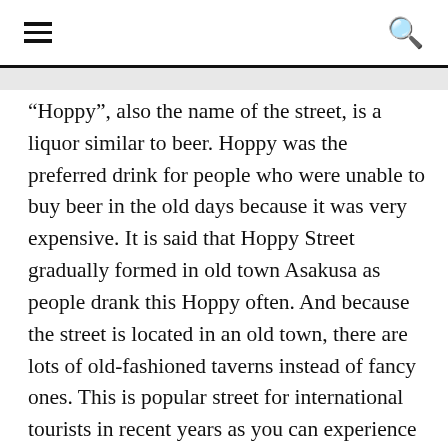☰   🔍
“Hoppy”, also the name of the street, is a liquor similar to beer. Hoppy was the preferred drink for people who were unable to buy beer in the old days because it was very expensive. It is said that Hoppy Street gradually formed in old town Asakusa as people drank this Hoppy often. And because the street is located in an old town, there are lots of old-fashioned taverns instead of fancy ones. This is popular street for international tourists in recent years as you can experience old town Japanese culture. Bar hopping is the common drinking style at Asakusa Hoppy Street, so why not try them all?!